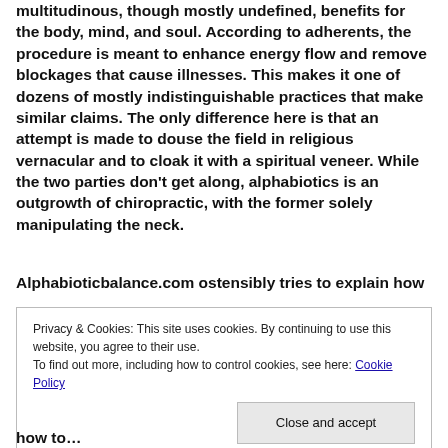multitudinous, though mostly undefined, benefits for the body, mind, and soul. According to adherents, the procedure is meant to enhance energy flow and remove blockages that cause illnesses. This makes it one of dozens of mostly indistinguishable practices that make similar claims. The only difference here is that an attempt is made to douse the field in religious vernacular and to cloak it with a spiritual veneer. While the two parties don't get along, alphabiotics is an outgrowth of chiropractic, with the former solely manipulating the neck.
Alphabioticbalance.com ostensibly tries to explain how
Privacy & Cookies: This site uses cookies. By continuing to use this website, you agree to their use.
To find out more, including how to control cookies, see here: Cookie Policy
Close and accept
how to…